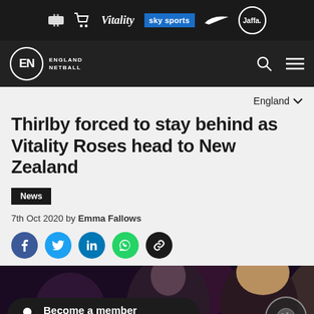England Netball - Sponsors: Vitality, Sky Sports, Nike, Jaffa
[Figure (logo): England Netball logo with EN initials in circle with text ENGLAND NETBALL]
Thirlby forced to stay behind as Vitality Roses head to New Zealand
News
7th Oct 2020 by Emma Fallows
[Figure (photo): Two women in dark lighting, appearing to be at a netball event]
Become a member Now